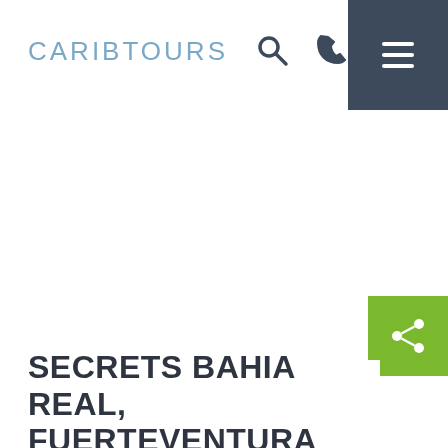CARIBTOURS
[Figure (other): White hero image area (hotel/resort image cropped or not loaded)]
SECRETS BAHIA REAL, FUERTEVENTURA